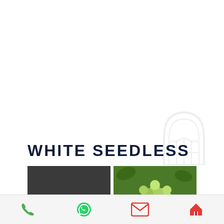[Figure (logo): Greenhouse/arch logo watermark in light gray]
WHITE SEEDLESS
[Figure (photo): Four photos of white seedless grapes in a 2x2 grid layout. Top-left and bottom-right are dark/redacted images. Top-right shows a bunch of green grapes hanging with a label, bottom-left shows someone holding large green grape clusters.]
Phone | WhatsApp | Email | Home navigation bar